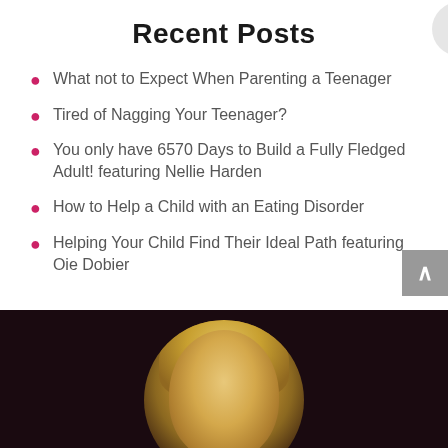Recent Posts
What not to Expect When Parenting a Teenager
Tired of Nagging Your Teenager?
You only have 6570 Days to Build a Fully Fledged Adult! featuring Nellie Harden
How to Help a Child with an Eating Disorder
Helping Your Child Find Their Ideal Path featuring Oie Dobier
[Figure (photo): Portrait photo of a blonde woman in a circular crop against a dark background]